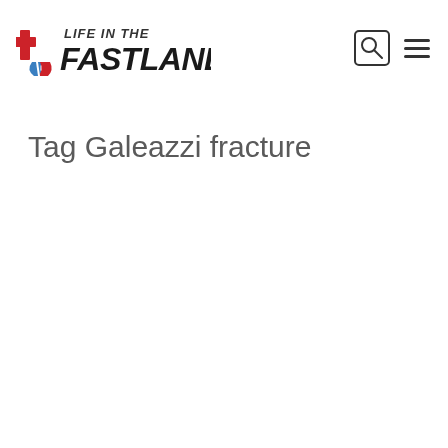Life in the Fast Lane
Tag Galeazzi fracture